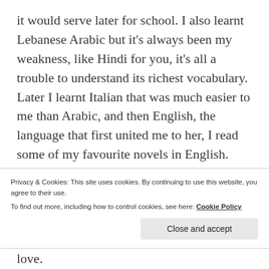it would serve later for school. I also learnt Lebanese Arabic but it's always been my weakness, like Hindi for you, it's all a trouble to understand its richest vocabulary. Later I learnt Italian that was much easier to me than Arabic, and then English, the language that first united me to her, I read some of my favourite novels in English. Once I tried to learn a bit of Spanish, and I was quite gifted with it, but later stopped. If I have more time I will try to perfect the knowledge of the languages I speak and I would like to learn
Privacy & Cookies: This site uses cookies. By continuing to use this website, you agree to their use.
To find out more, including how to control cookies, see here: Cookie Policy
love.